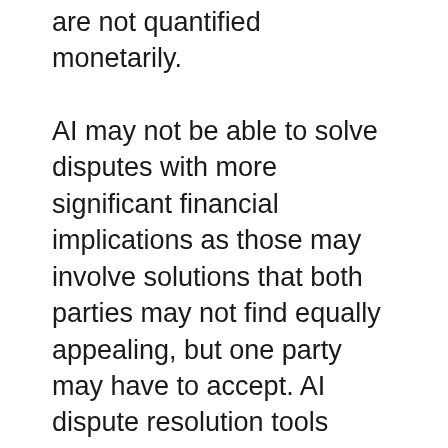are not quantified monetarily.
AI may not be able to solve disputes with more significant financial implications as those may involve solutions that both parties may not find equally appealing, but one party may have to accept. AI dispute resolution tools using blockchain technology could be susceptible to data theft as well. Due to the lack of regulations in place, the responsibility of protecting the data may not be enforced legally. This data theft could jeopardize the safety of the parties and their private information. Data breaches may also negatively impact the dispute resolution process. Other issues can include a lack of trust from parties who may find the process wholly unfamiliar and lacking human